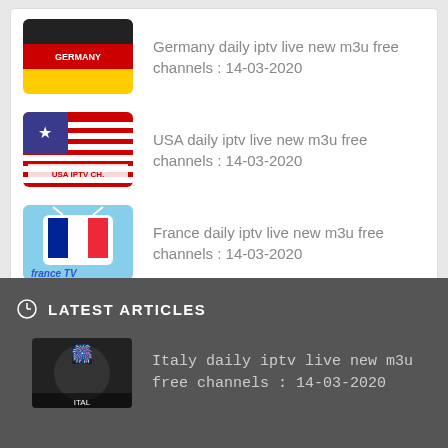Germany daily iptv live new m3u free channels : 14-03-2020
USA daily iptv live new m3u free channels : 14-03-2020
France daily iptv live new m3u free channels : 14-03-2020
LATEST ARTICLES
Italy daily iptv live new m3u free channels : 14-03-2020